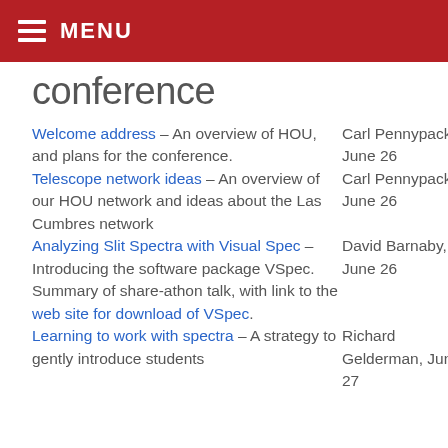MENU
conference
Welcome address – An overview of HOU, and plans for the conference. | Carl Pennypacker, June 26
Telescope network ideas – An overview of our HOU network and ideas about the Las Cumbres network | Carl Pennypacker, June 26
Analyzing Slit Spectra with Visual Spec – Introducing the software package VSpec. Summary of share-athon talk, with link to the web site for download of VSpec. | David Barnaby, June 26
Learning to work with spectra – A strategy to gently introduce students | Richard Gelderman, June 27